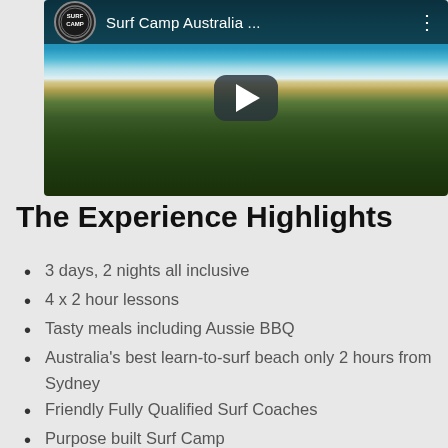[Figure (screenshot): YouTube video thumbnail showing aerial view of an Australian beach coastline with a curved sandy shore, turquoise water, and dense green bushland. The video player header shows 'Surf Camp Australia ...' with a circular logo and three-dot menu. A large play button is centered on the thumbnail.]
The Experience Highlights
3 days, 2 nights all inclusive
4 x 2 hour lessons
Tasty meals including Aussie BBQ
Australia's best learn-to-surf beach only 2 hours from Sydney
Friendly Fully Qualified Surf Coaches
Purpose built Surf Camp
Daily video analysis
Intermediate surfers welcome